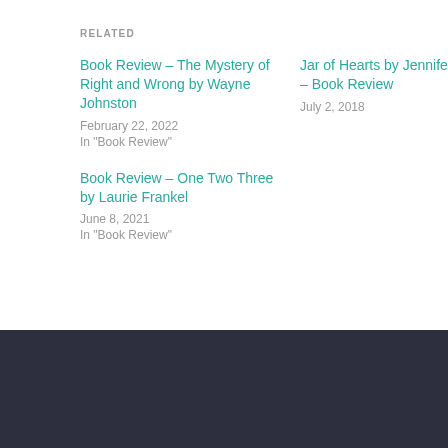RELATED
Book Review – The Mystery of Right and Wrong by Wayne Johnston
February 22, 2022
In "Book Review"
Jar of Hearts by Jennifer Hillier – Book Review
July 2, 2018
Book Review – One Two Three by Laurie Frankel
June 8, 2021
In "Book Review"
Published by indydriven
Creator and Podcaster of Books Are My Passion on Spotify. Lover of all things bookish, a feminist, sister and avid traveller.